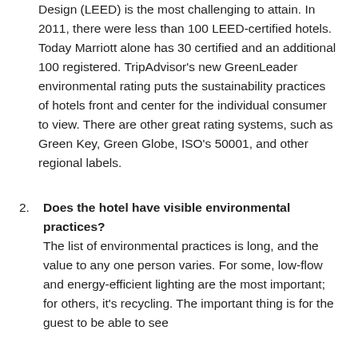Design (LEED) is the most challenging to attain. In 2011, there were less than 100 LEED-certified hotels. Today Marriott alone has 30 certified and an additional 100 registered. TripAdvisor's new GreenLeader environmental rating puts the sustainability practices of hotels front and center for the individual consumer to view. There are other great rating systems, such as Green Key, Green Globe, ISO's 50001, and other regional labels.
2. Does the hotel have visible environmental practices? The list of environmental practices is long, and the value to any one person varies. For some, low-flow and energy-efficient lighting are the most important; for others, it's recycling. The important thing is for the guest to be able to see